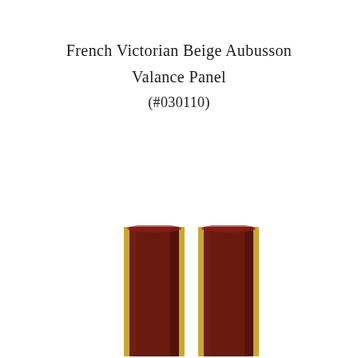French Victorian Beige Aubusson Valance Panel (#030110)
[Figure (photo): Two narrow vertical curtain/valance panels in dark burgundy/maroon fabric with gold trim stripes on the edges, shown hanging side by side against a white background.]